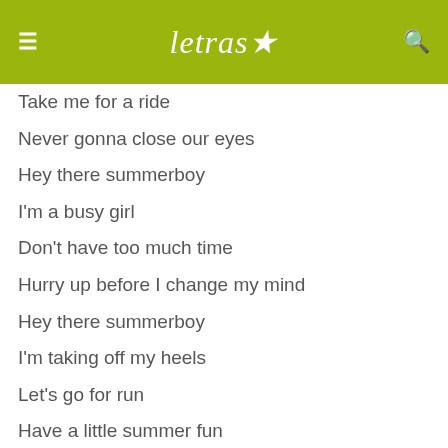letras
Take me for a ride
Never gonna close our eyes
Hey there summerboy
I'm a busy girl
Don't have too much time
Hurry up before I change my mind
Hey there summerboy
I'm taking off my heels
Let's go for run
Have a little summer fun
Have a little summer fun
Summerboy
Let's get lost, you can take me home